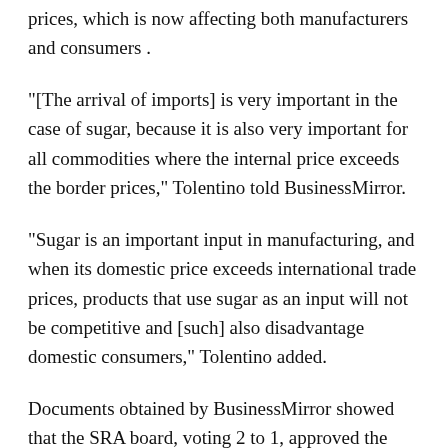prices, which is now affecting both manufacturers and consumers .
“[The arrival of imports] is very important in the case of sugar, because it is also very important for all commodities where the internal price exceeds the border prices,” Tolentino told BusinessMirror.
“Sugar is an important input in manufacturing, and when its domestic price exceeds international trade prices, products that use sugar as an input will not be competitive and [such] also disadvantage domestic consumers,” Tolentino added.
Documents obtained by BusinessMirror showed that the SRA board, voting 2 to 1, approved the reclassification of 500 tonnes of bottler-grade refined sugar imported from “C” sugar or reserved for “B” sugar or domestic consumption.